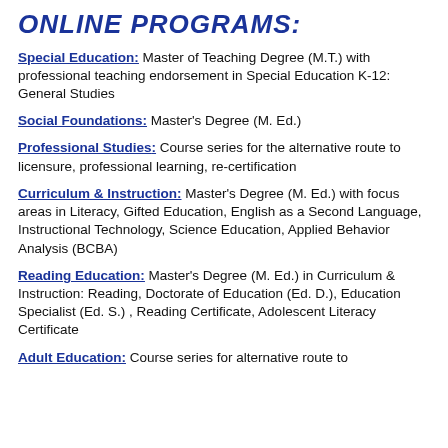ONLINE PROGRAMS:
Special Education:  Master of Teaching Degree (M.T.) with professional teaching endorsement in Special Education K-12: General Studies
Social Foundations:  Master's Degree (M. Ed.)
Professional Studies:  Course series for the alternative route to licensure, professional learning, re-certification
Curriculum & Instruction:  Master's Degree (M. Ed.) with focus areas in Literacy, Gifted Education, English as a Second Language, Instructional Technology, Science Education, Applied Behavior Analysis (BCBA)
Reading Education:  Master's Degree (M. Ed.) in Curriculum & Instruction: Reading, Doctorate of Education (Ed. D.), Education Specialist (Ed. S.) , Reading Certificate, Adolescent Literacy Certificate
Adult Education:  ...